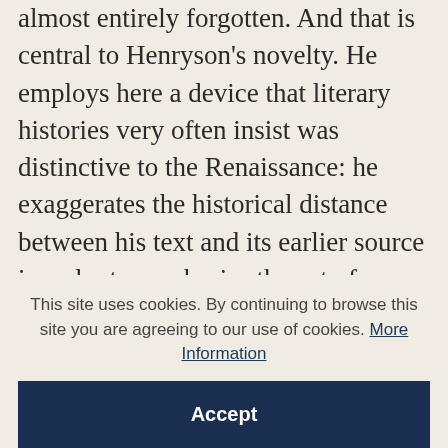represented by a mutual relationship that is almost entirely forgotten. And that is central to Henryson's novelty. He employs here a device that literary histories very often insist was distinctive to the Renaissance: he exaggerates the historical distance between his text and its earlier source in order to emphasise the act of transformation which he, the modern author, has had to perform in producing his own work. Henryson is not attempting, though, to bring an ancient text back to life. Rather, the act of partial forgetting is the means by which a new work with its own kind of
This site uses cookies. By continuing to browse this site you are agreeing to our use of cookies. More Information
Accept